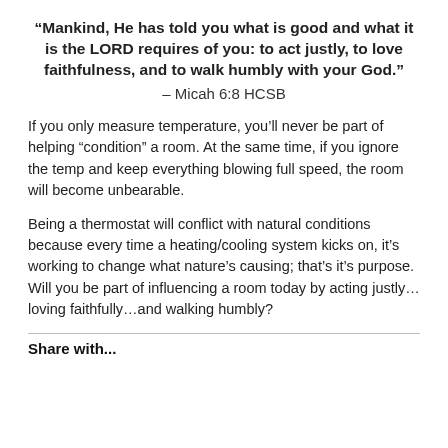“Mankind, He has told you what is good and what it is the LORD requires of you: to act justly, to love faithfulness, and to walk humbly with your God.”
– Micah 6:8 HCSB
If you only measure temperature, you’ll never be part of helping “condition” a room. At the same time, if you ignore the temp and keep everything blowing full speed, the room will become unbearable.
Being a thermostat will conflict with natural conditions because every time a heating/cooling system kicks on, it’s working to change what nature’s causing; that’s it’s purpose. Will you be part of influencing a room today by acting justly…loving faithfully…and walking humbly?
Share with...